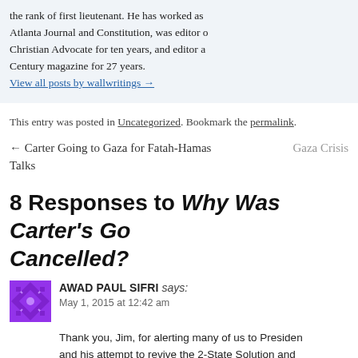the rank of first lieutenant. He has worked as Atlanta Journal and Constitution, was editor of Christian Advocate for ten years, and editor a Century magazine for 27 years.
View all posts by wallwritings →
This entry was posted in Uncategorized. Bookmark the permalink.
← Carter Going to Gaza for Fatah-Hamas Talks    Gaza Crisis
8 Responses to Why Was Carter's Go Cancelled?
AWAD PAUL SIFRI says: May 1, 2015 at 12:42 am
Thank you, Jim, for alerting many of us to Presiden and his attempt to revive the 2-State Solution and